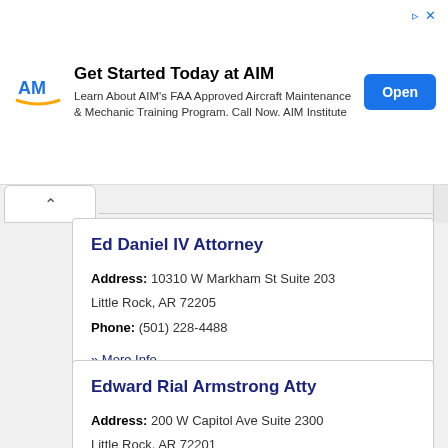[Figure (screenshot): AIM Institute advertisement banner. Logo on left, text 'Get Started Today at AIM - Learn About AIM's FAA Approved Aircraft Maintenance & Mechanic Training Program. Call Now. AIM Institute', blue 'Open' button on right.]
Ed Daniel IV Attorney
Address: 10310 W Markham St Suite 203 Little Rock, AR 72205
Phone: (501) 228-4488
» More Info
Edward Rial Armstrong Atty
Address: 200 W Capitol Ave Suite 2300 Little Rock, AR 72201
Phone: (501) 371-0808